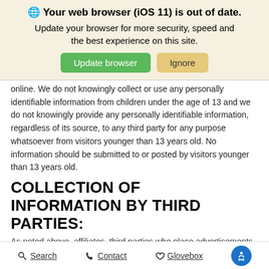[Figure (screenshot): Browser update notification banner with globe icon, bold title 'Your web browser (iOS 11) is out of date.', subtitle 'Update your browser for more security, speed and the best experience on this site.', and two buttons: 'Update browser' (green) and 'Ignore' (tan/gold).]
online. We do not knowingly collect or use any personally identifiable information from children under the age of 13 and we do not knowingly provide any personally identifiable information, regardless of its source, to any third party for any purpose whatsoever from visitors younger than 13 years old. No information should be submitted to or posted by visitors younger than 13 years old.
COLLECTION OF INFORMATION BY THIRD PARTIES:
As noted above, affiliates, third parties who place advertisements on
Search   Contact   Glovebox   [accessibility icon]